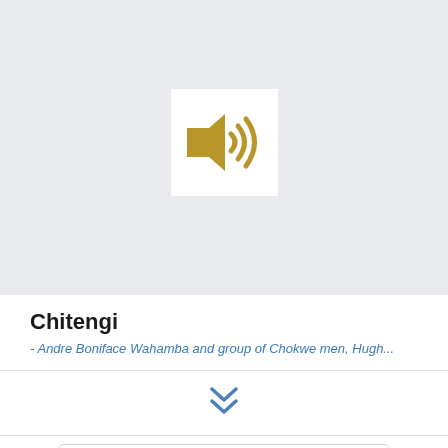[Figure (illustration): Audio speaker icon in gold/tan color on a white square background, centered in a light gray section]
Chitengi
- Andre Boniface Wahamba and group of Chokwe men, Hugh...
[Figure (illustration): Double chevron/arrow pointing downward in blue, indicating expandable content]